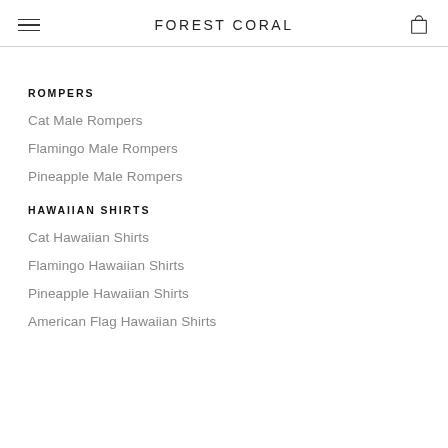FOREST CORAL
ROMPERS
Cat Male Rompers
Flamingo Male Rompers
Pineapple Male Rompers
HAWAIIAN SHIRTS
Cat Hawaiian Shirts
Flamingo Hawaiian Shirts
Pineapple Hawaiian Shirts
American Flag Hawaiian Shirts